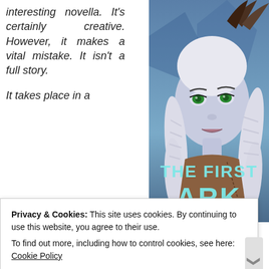interesting novella. It's certainly creative. However, it makes a vital mistake. It isn't a full story.
It takes place in a
[Figure (illustration): Book cover illustration for 'The First Ark' showing a fantasy female character with white braided hair and green eyes, wearing tribal clothing, with the title text overlaid in teal/turquoise lettering.]
Privacy & Cookies: This site uses cookies. By continuing to use this website, you agree to their use.
To find out more, including how to control cookies, see here: Cookie Policy
Close and accept